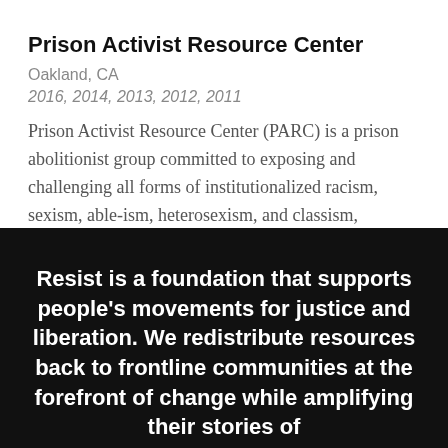Prison Activist Resource Center
Oakland, CA
2016, 2014, 2013, 2012, 2011
Prison Activist Resource Center (PARC) is a prison abolitionist group committed to exposing and challenging all forms of institutionalized racism, sexism, able-ism, heterosexism, and classism, specifically within the...
Resist is a foundation that supports people's movements for justice and liberation. We redistribute resources back to frontline communities at the forefront of change while amplifying their stories of...